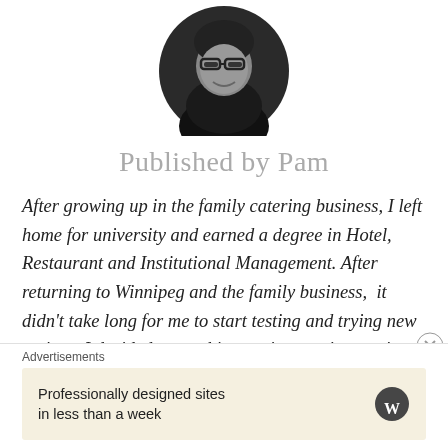[Figure (photo): Circular profile photo of a woman wearing glasses, smiling, dark hair, black and white / desaturated image]
Published by Pam
After growing up in the family catering business, I left home for university and earned a degree in Hotel, Restaurant and Institutional Management. After returning to Winnipeg and the family business,  it didn't take long for me to start testing and trying new recipes. I decided to combine my interest in creating recipes with my love of writing and wrote Soup - A Kosher Collection - my first kosher cookbook. Just in time for Passover 2010
Advertisements
Professionally designed sites in less than a week